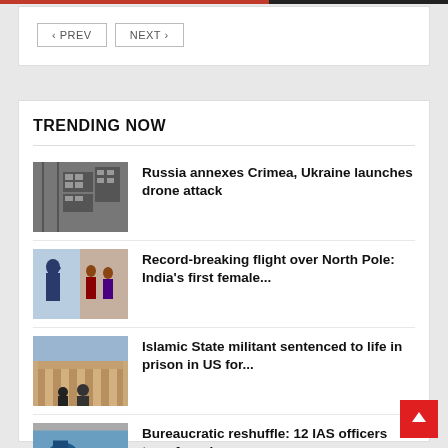< PREV  NEXT >
TRENDING NOW
[Figure (photo): Aerial black and white photograph of buildings/city]
Russia annexes Crimea, Ukraine launches drone attack
[Figure (photo): Two photos side by side: a person in uniform saluting and people in traditional dress]
Record-breaking flight over North Pole: India's first female...
[Figure (photo): People in front of a building with columns]
Islamic State militant sentenced to life in prison in US for...
[Figure (photo): Blue outdoor scene partially visible]
Bureaucratic reshuffle: 12 IAS officers transferred...